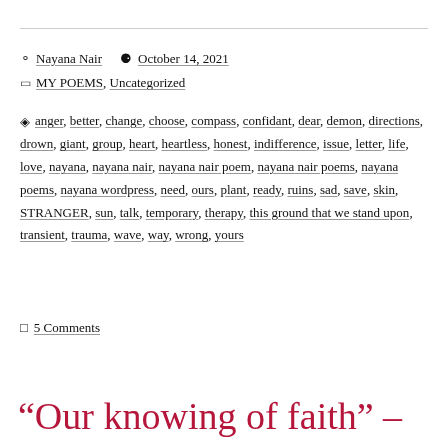Nayana Nair   October 14, 2021
MY POEMS, Uncategorized
anger, better, change, choose, compass, confidant, dear, demon, directions, drown, giant, group, heart, heartless, honest, indifference, issue, letter, life, love, nayana, nayana nair, nayana nair poem, nayana nair poems, nayana poems, nayana wordpress, need, ours, plant, ready, ruins, sad, save, skin, STRANGER, sun, talk, temporary, therapy, this ground that we stand upon, transient, trauma, wave, way, wrong, yours
5 Comments
“Our knowing of faith” –